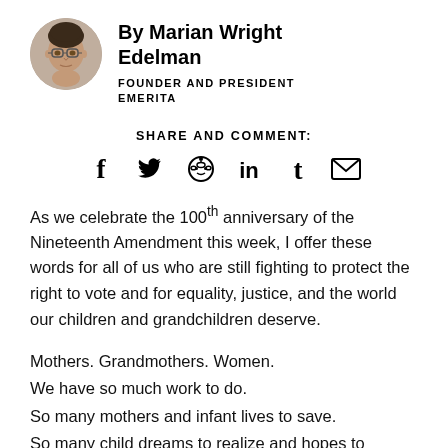[Figure (photo): Circular portrait photo of Marian Wright Edelman, an older woman with glasses, hands clasped near her face]
By Marian Wright Edelman
FOUNDER AND PRESIDENT EMERITA
SHARE AND COMMENT:
[Figure (infographic): Social sharing icons: Facebook, Twitter, Reddit, LinkedIn, Tumblr, Email]
As we celebrate the 100th anniversary of the Nineteenth Amendment this week, I offer these words for all of us who are still fighting to protect the right to vote and for equality, justice, and the world our children and grandchildren deserve.
Mothers. Grandmothers. Women.
We have so much work to do.
So many mothers and infant lives to save.
So many child dreams to realize and hopes to